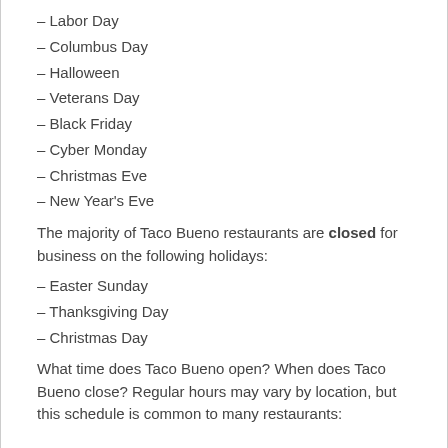– Labor Day
– Columbus Day
– Halloween
– Veterans Day
– Black Friday
– Cyber Monday
– Christmas Eve
– New Year's Eve
The majority of Taco Bueno restaurants are closed for business on the following holidays:
– Easter Sunday
– Thanksgiving Day
– Christmas Day
What time does Taco Bueno open? When does Taco Bueno close? Regular hours may vary by location, but this schedule is common to many restaurants: